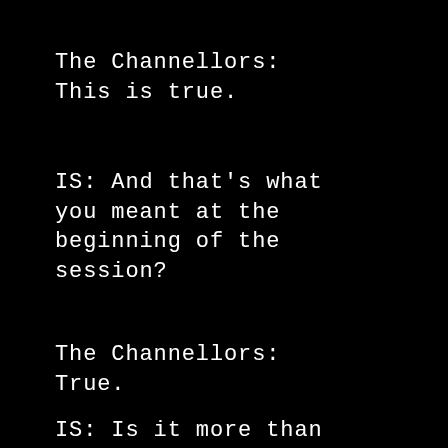The Channellors: This is true.
IS: And that's what you meant at the beginning of the session?
The Channellors: True.
IS: Is it more than usual catastrophe